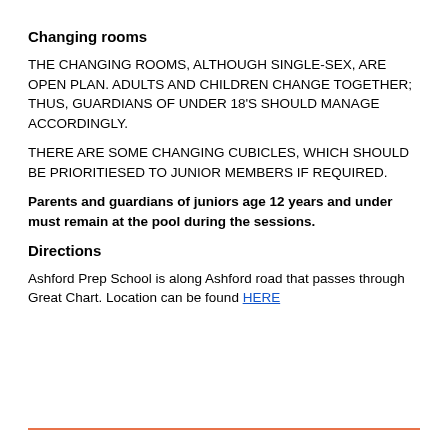Changing rooms
THE CHANGING ROOMS, ALTHOUGH SINGLE-SEX, ARE OPEN PLAN. ADULTS AND CHILDREN CHANGE TOGETHER; THUS, GUARDIANS OF UNDER 18's SHOULD MANAGE ACCORDINGLY.
THERE ARE SOME CHANGING CUBICLES, WHICH SHOULD BE PRIORITIESED TO JUNIOR MEMBERS IF REQUIRED.
Parents and guardians of juniors age 12 years and under must remain at the pool during the sessions.
Directions
Ashford Prep School is along Ashford road that passes through Great Chart. Location can be found HERE